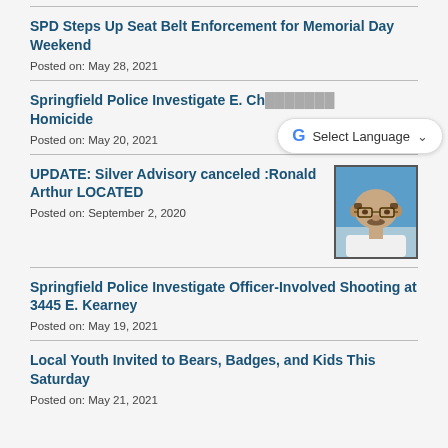SPD Steps Up Seat Belt Enforcement for Memorial Day Weekend
Posted on: May 28, 2021
Springfield Police Investigate E. Ch... Homicide
Posted on: May 20, 2021
[Figure (screenshot): Google Translate widget showing 'Select Language' dropdown]
UPDATE: Silver Advisory canceled :Ronald Arthur LOCATED
Posted on: September 2, 2020
[Figure (photo): Mugshot/ID photo of an older bald man with glasses and a mustache wearing a white shirt]
Springfield Police Investigate Officer-Involved Shooting at 3445 E. Kearney
Posted on: May 19, 2021
Local Youth Invited to Bears, Badges, and Kids This Saturday
Posted on: May 21, 2021